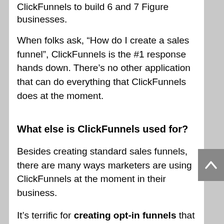ClickFunnels to build 6 and 7 Figure businesses.
When folks ask, “How do I create a sales funnel”, ClickFunnels is the #1 response hands down. There’s no other application that can do everything that ClickFunnels does at the moment.
What else is ClickFunnels used for?
Besides creating standard sales funnels, there are many ways marketers are using ClickFunnels at the moment in their business.
It’s terrific for creating opt-in funnels that will help you generate more prospects and build your email list.